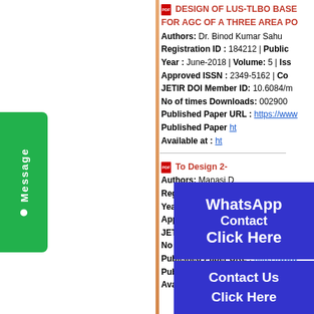[Figure (other): Green Message button on left side]
DESIGN OF LUS-TLBO BASE FOR AGC OF A THREE AREA PO
Authors: Dr. Binod Kumar Sahu
Registration ID : 184212 | Public
Year : June-2018 | Volume: 5 | Iss
Approved ISSN : 2349-5162 | Co
JETIR DOI Member ID: 10.6084/m
No of times Downloads: 002900
Published Paper URL : https://www
Published Paper PDF : ht
Available at : ht
[Figure (other): WhatsApp Contact Click Here blue overlay button]
[Figure (other): Contact Us Click Here blue overlay button]
To Design 2-
Authors: Manasi D
Registration ID : 184234 | Public
Year : June-2018 | Volume: 5 | Iss
Approved ISSN : 2349-5162 | Co
JETIR DOI Member ID: 10.6084/m
No of times Downloads: 002901
Published Paper URL : https://www
Published Paper PDF : https://www
Available at : http://www.jetir.org/p